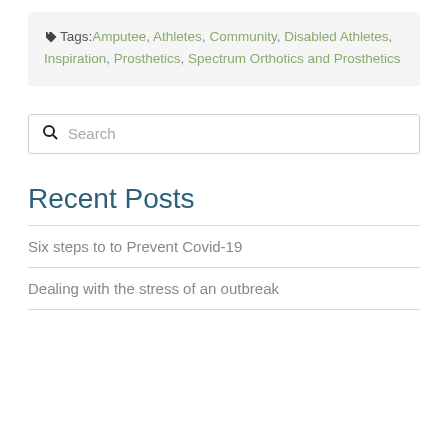Tags: Amputee, Athletes, Community, Disabled Athletes, Inspiration, Prosthetics, Spectrum Orthotics and Prosthetics
Search
Recent Posts
Six steps to to Prevent Covid-19
Dealing with the stress of an outbreak